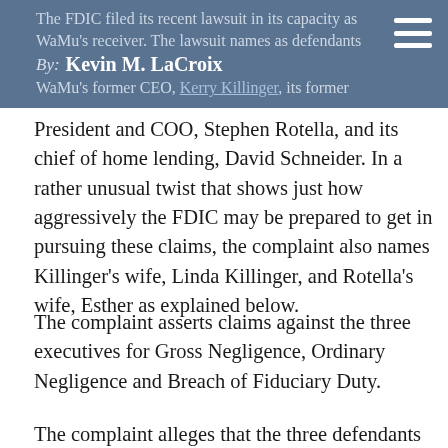The FDIC filed its recent lawsuit in its capacity as WaMu's receiver. The lawsuit names as defendants By: Kevin M. LaCroix WaMu's former CEO, Kerry Killinger, its former
President and COO, Stephen Rotella, and its chief of home lending, David Schneider. In a rather unusual twist that shows just how aggressively the FDIC may be prepared to get in pursuing these claims, the complaint also names Killinger's wife, Linda Killinger, and Rotella's wife, Esther as explained below.
The complaint asserts claims against the three executives for Gross Negligence, Ordinary Negligence and Breach of Fiduciary Duty.
The complaint alleges that the three defendants